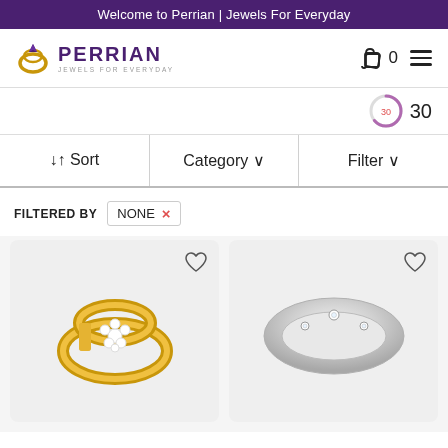Welcome to Perrian | Jewels For Everyday
[Figure (logo): Perrian Jewels For Everyday logo with diamond ring icon in gold, brand name in purple]
[Figure (infographic): Circular timer showing 30, with shopping cart icon showing 0 items and hamburger menu]
↓↑ Sort  Category ˅  Filter ˅
FILTERED BY  NONE ×
[Figure (photo): Gold floral diamond ring on white/grey background with heart wishlist icon]
[Figure (photo): Silver band ring with small diamond accents on grey background with heart wishlist icon]